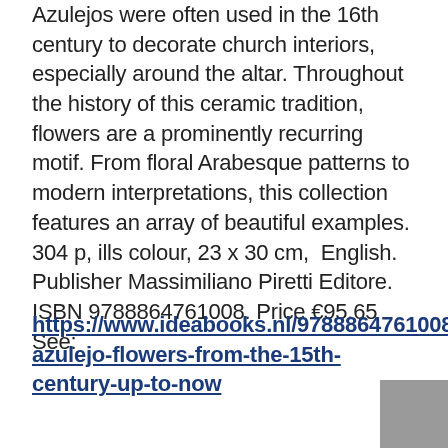Azulejos were often used in the 16th century to decorate church interiors, especially around the altar. Throughout the history of this ceramic tradition, flowers are a prominently recurring motif. From floral Arabesque patterns to modern interpretations, this collection features an array of beautiful examples. 304 p, ills colour, 23 x 30 cm,  English. Publisher Massimiliano Piretti Editore. ISBN 9788864761008. Price €95.65     See:
https://www.ideabooks.nl/9788864761008-azulejo-flowers-from-the-15th-century-up-to-now